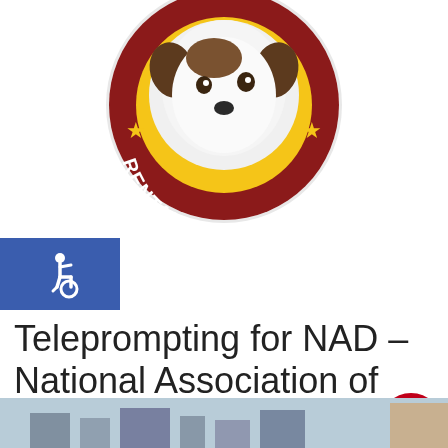[Figure (logo): Circular logo with dark red/maroon border, yellow inner ring, white dog face in center, gold stars on left and right, text 'RENTAL.COM' on the red border in white letters]
[Figure (illustration): Blue square accessibility icon showing wheelchair user symbol in white]
Teleprompting for NAD – National Association of the Deaf
by Bill Milling | Nov 13, 2015 | Presidential Teleprompters, Teleprompter
[Figure (photo): Partial photo at bottom showing outdoor scene, partially cut off]